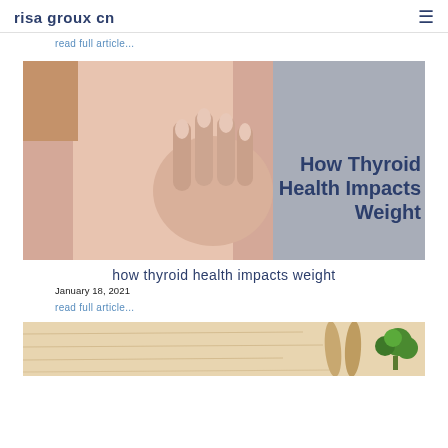risa groux cn
read full article...
[Figure (photo): Close-up of a person's hand touching their neck/throat area with text overlay reading 'How Thyroid Health Impacts Weight']
how thyroid health impacts weight
January 18, 2021
read full article...
[Figure (photo): Partial image of a wooden cutting board with broccoli and wooden spoon]